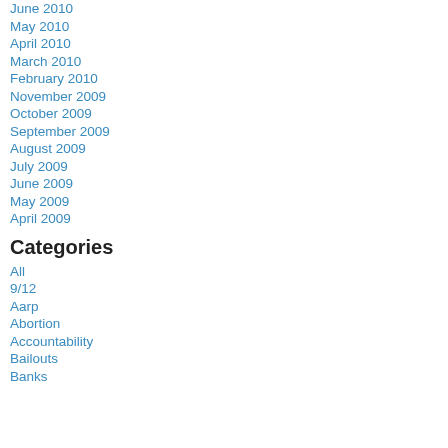June 2010
May 2010
April 2010
March 2010
February 2010
November 2009
October 2009
September 2009
August 2009
July 2009
June 2009
May 2009
April 2009
Categories
All
9/12
Aarp
Abortion
Accountability
Bailouts
Banks